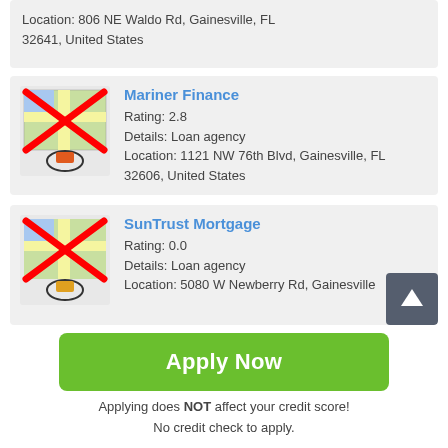Location: 806 NE Waldo Rd, Gainesville, FL 32641, United States
[Figure (screenshot): Map thumbnail with red X overlay for Mariner Finance]
Mariner Finance
Rating: 2.8
Details: Loan agency
Location: 1121 NW 76th Blvd, Gainesville, FL 32606, United States
[Figure (screenshot): Map thumbnail with red X overlay for SunTrust Mortgage]
SunTrust Mortgage
Rating: 0.0
Details: Loan agency
Location: 5080 W Newberry Rd, Gainesville
Apply Now
Applying does NOT affect your credit score!
No credit check to apply.